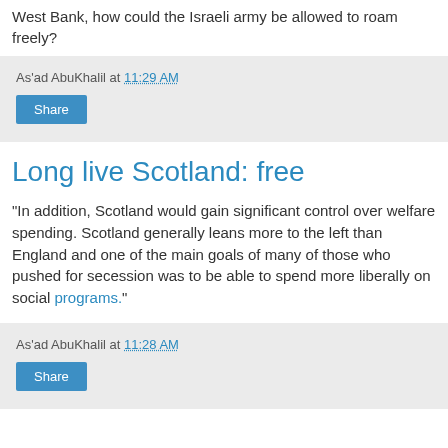West Bank, how could the Israeli army be allowed to roam freely?
As'ad AbuKhalil at 11:29 AM
Share
Long live Scotland: free
"In addition, Scotland would gain significant control over welfare spending. Scotland generally leans more to the left than England and one of the main goals of many of those who pushed for secession was to be able to spend more liberally on social programs."
As'ad AbuKhalil at 11:28 AM
Share